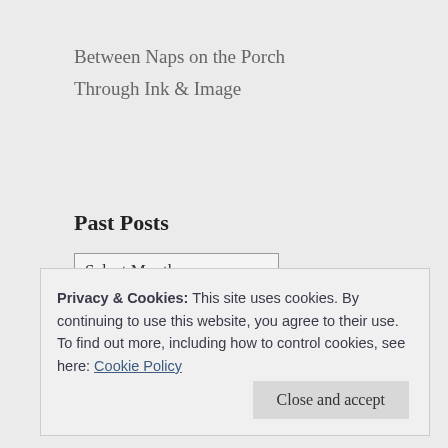Between Naps on the Porch
Through Ink & Image
Past Posts
Select Month (dropdown)
Privacy & Cookies: This site uses cookies. By continuing to use this website, you agree to their use.
To find out more, including how to control cookies, see here: Cookie Policy
Close and accept